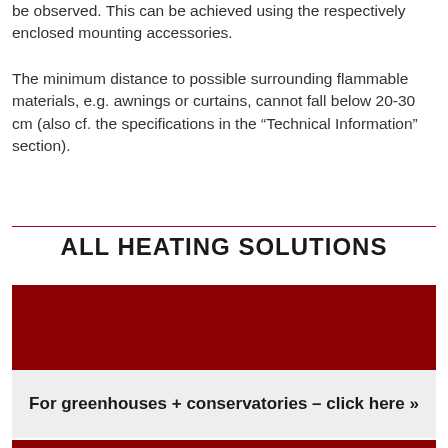be observed. This can be achieved using the respectively enclosed mounting accessories.
The minimum distance to possible surrounding flammable materials, e.g. awnings or curtains, cannot fall below 20-30 cm (also cf. the specifications in the “Technical Information” section).
ALL HEATING SOLUTIONS
[Figure (other): Dark red/maroon colored image block for greenhouse and conservatories heating solution card]
For greenhouses + conservatories – click here »